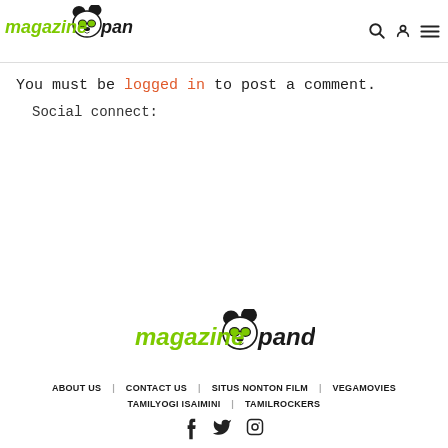magazine panda — header with logo and navigation icons
You must be logged in to post a comment.
Social connect:
[Figure (logo): Magazine Panda logo — green italic 'magazine' text, panda face with sunglasses, black italic 'panda' text]
ABOUT US  CONTACT US  SITUS NONTON FILM  VEGAMOVIES  TAMILYOGI ISAIMINI  TAMILROCKERS
Social icons: Facebook, Twitter, Instagram